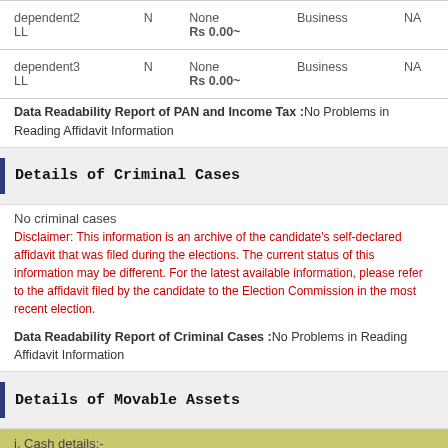| Name |  | Income | Type | NA |
| --- | --- | --- | --- | --- |
| dependent2
LL | N | None
Rs 0.00~ | Business | NA |
| dependent3
LL | N | None
Rs 0.00~ | Business | NA |
Data Readability Report of PAN and Income Tax :No Problems in Reading Affidavit Information
Details of Criminal Cases
No criminal cases
Disclaimer: This information is an archive of the candidate's self-declared affidavit that was filed during the elections. The current status of this information may be different. For the latest available information, please refer to the affidavit filed by the candidate to the Election Commission in the most recent election.
Data Readability Report of Criminal Cases :No Problems in Reading Affidavit Information
Details of Movable Assets
i. Cash details:-
| Owner | Value | Description |
| --- | --- | --- |